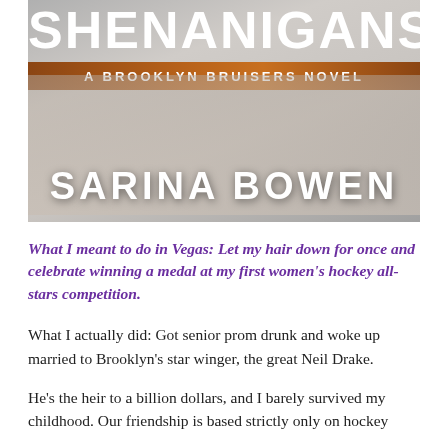[Figure (illustration): Book cover for 'Shenanigans: A Brooklyn Bruisers Novel' by Sarina Bowen. Shows partial title text 'SHENANIGANS' at the top in white bold letters, a brown/orange banner reading 'A BROOKLYN BRUISERS NOVEL', a background of clasped hands in grey/white tones, and the author name 'SARINA BOWEN' in large white bold letters at the bottom.]
What I meant to do in Vegas: Let my hair down for once and celebrate winning a medal at my first women's hockey all-stars competition.
What I actually did: Got senior prom drunk and woke up married to Brooklyn's star winger, the great Neil Drake.
He's the heir to a billion dollars, and I barely survived my childhood. Our friendship is based strictly only on hockey